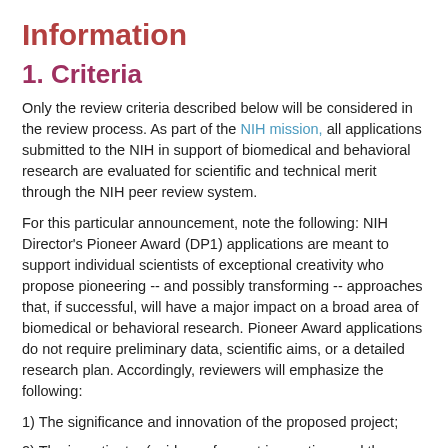Information
1. Criteria
Only the review criteria described below will be considered in the review process. As part of the NIH mission, all applications submitted to the NIH in support of biomedical and behavioral research are evaluated for scientific and technical merit through the NIH peer review system.
For this particular announcement, note the following: NIH Director's Pioneer Award (DP1) applications are meant to support individual scientists of exceptional creativity who propose pioneering -- and possibly transforming -- approaches that, if successful, will have a major impact on a broad area of biomedical or behavioral research. Pioneer Award applications do not require preliminary data, scientific aims, or a detailed research plan. Accordingly, reviewers will emphasize the following:
1) The significance and innovation of the proposed project;
2) The investigator (evidence for past innovation; and the PD(s)/P('s) demonstrated ability to devote 51% or more research effort on DP1 project); and
3) The suitability of the proposed project for the Pioneer Award